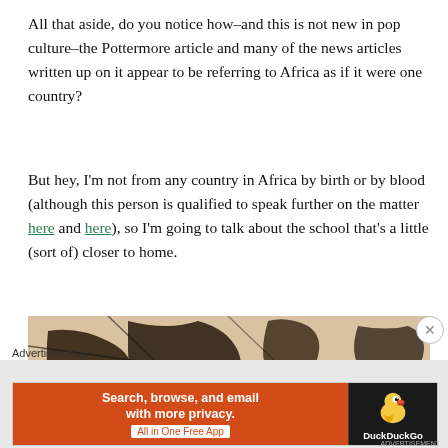All that aside, do you notice how–and this is not new in pop culture–the Pottermore article and many of the news articles written up on it appear to be referring to Africa as if it were one country?
But hey, I'm not from any country in Africa by birth or by blood (although this person is qualified to speak further on the matter here and here), so I'm going to talk about the school that's a little (sort of) closer to home.
[Figure (illustration): A sepia-toned sketch or map-like illustration with dark ink lines forming an abstract or geographic pattern on a warm tan/beige background.]
Advertisements
[Figure (screenshot): DuckDuckGo advertisement banner: orange left panel reading 'Search, browse, and email with more privacy. All in One Free App', dark right panel with DuckDuckGo duck logo.]